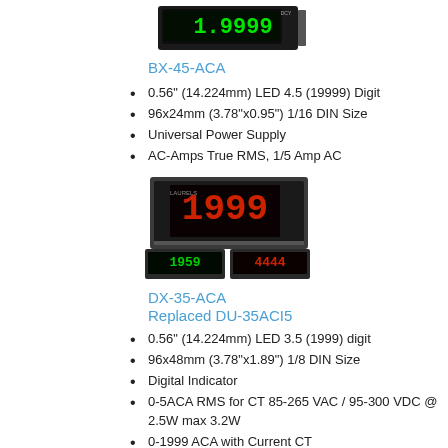[Figure (photo): Photo of BX-45-ACA digital panel meter device showing green LED display reading 1.9999]
BX-45-ACA
0.56" (14.224mm) LED 4.5 (19999) Digit
96x24mm (3.78"x0.95") 1/16 DIN Size
Universal Power Supply
AC-Amps True RMS, 1/5 Amp AC
[Figure (photo): Photo of DX-35-ACA digital panel meters showing red LED display reading 1999 and green/red secondary displays]
DX-35-ACA
Replaced DU-35ACI5
0.56" (14.224mm) LED 3.5 (1999) digit
96x48mm (3.78"x1.89") 1/8 DIN Size
Digital Indicator
0-5ACA RMS for CT 85-265 VAC / 95-300 VDC @ 2.5W max 3.2W
0-1999 ACA with Current CT